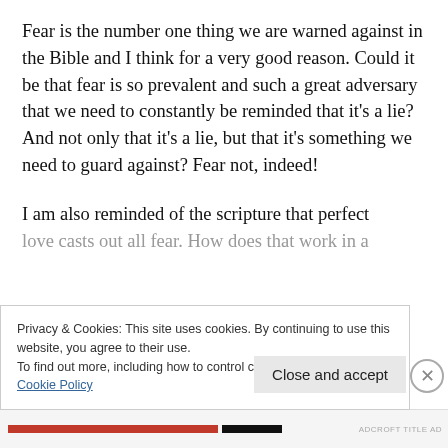Fear is the number one thing we are warned against in the Bible and I think for a very good reason. Could it be that fear is so prevalent and such a great adversary that we need to constantly be reminded that it’s a lie? And not only that it’s a lie, but that it’s something we need to guard against? Fear not, indeed!
I am also reminded of the scripture that perfect love casts out all fear. How does that work in a
Privacy & Cookies: This site uses cookies. By continuing to use this website, you agree to their use.
To find out more, including how to control cookies, see here:
Cookie Policy
Close and accept